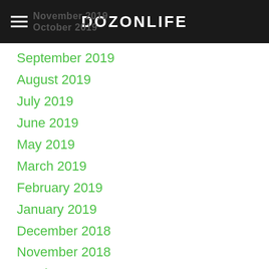DOZONLIFE
November 2019
October 2019
September 2019
August 2019
July 2019
June 2019
May 2019
March 2019
February 2019
January 2019
December 2018
November 2018
October 2018
September 2018
August 2018
July 2018
June 2018
May 2018